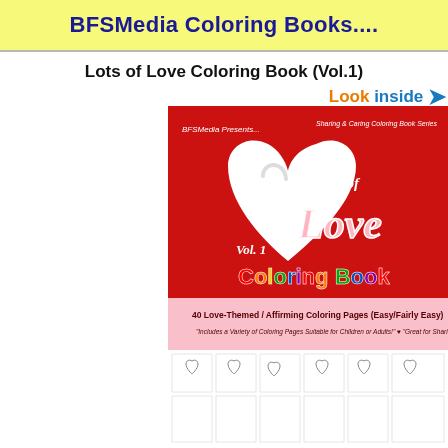BFSMedia Coloring Books....
Lots of Love Coloring Book (Vol.1)
Look inside
[Figure (illustration): Cover of 'Lots of Love Coloring Book Vol. 1' by BFSMedia, red background with a large white heart, colorful text. Subtitle: 40 Love-Themed / Affirming Coloring Pages (Easy/Fairly Easy). Bottom strip shows thumbnail coloring pages with hearts and love designs.]